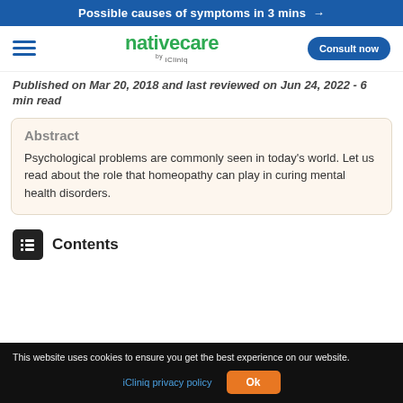Possible causes of symptoms in 3 mins →
[Figure (logo): nativecare by iCliniq logo with hamburger menu and Consult now button]
Published on Mar 20, 2018 and last reviewed on Jun 24, 2022  -  6 min read
Abstract
Psychological problems are commonly seen in today's world. Let us read about the role that homeopathy can play in curing mental health disorders.
Contents
This website uses cookies to ensure you get the best experience on our website.